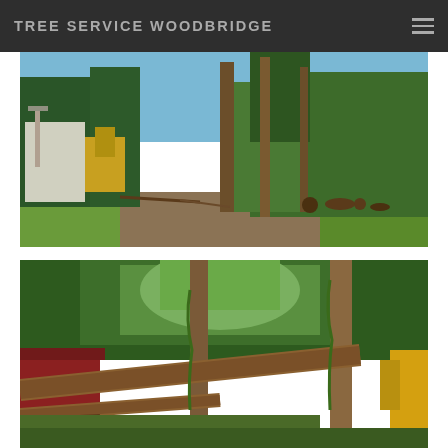TREE SERVICE WOODBRIDGE
[Figure (photo): Outdoor scene of a tree removal job site with machinery (crane/equipment) on the left, several tall trees in background, cleared ground with debris, sunny day with blue sky]
[Figure (photo): Outdoor scene showing fallen large tree logs on the ground, dense green foliage in background, two standing tree trunks visible, yellow equipment on the right edge]